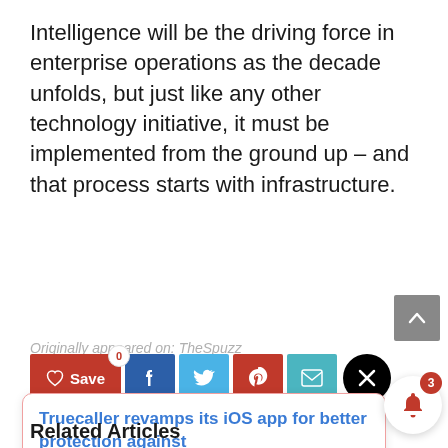Intelligence will be the driving force in enterprise operations as the decade unfolds, but just like any other technology initiative, it must be implemented from the ground up – and that process starts with infrastructure.
Originally appeared on: TheSpuzz
[Figure (infographic): Social sharing bar with Save button (red, showing 0), Facebook (blue), Twitter (light blue), Pinterest (red), Email (teal), and X (black circle) buttons]
[Figure (infographic): Notification popup showing 'Truecaller revamps its iOS app for better protection against' with timestamp '14 minutes ago', and a bell notification icon with badge showing 3]
Related Articles